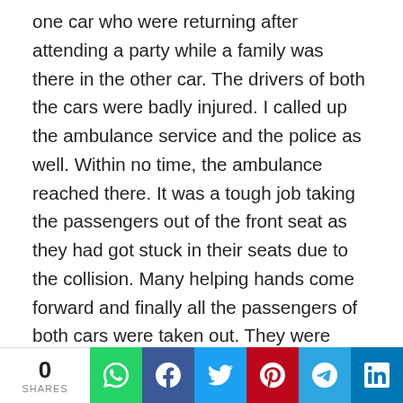one car who were returning after attending a party while a family was there in the other car. The drivers of both the cars were badly injured. I called up the ambulance service and the police as well. Within no time, the ambulance reached there. It was a tough job taking the passengers out of the front seat as they had got stuck in their seats due to the collision. Many helping hands come forward and finally all the passengers of both cars were taken out. They were shifted to a nearby hospital. Two people had not received serious injuries so they were asked to inform their family members about the accident. One man from the crowd informed the authorities to send a crane as the cars had blocked the road as well. It took almost one hour for all this. Then I went inside but I could not practice more due to the terrific scenes flashing in my mind. The only good
[Figure (infographic): Social share bar at bottom: 0 SHARES counter on the left, followed by WhatsApp, Facebook, Twitter, Pinterest, Telegram, and LinkedIn share buttons]